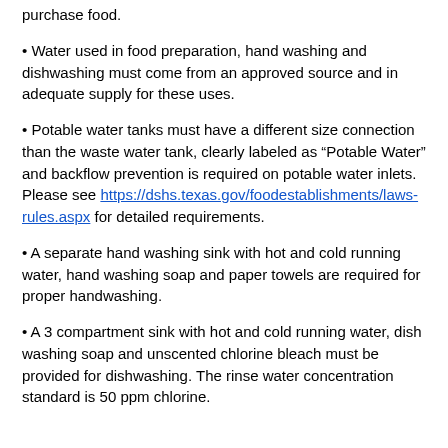purchase food.
Water used in food preparation, hand washing and dishwashing must come from an approved source and in adequate supply for these uses.
Potable water tanks must have a different size connection than the waste water tank, clearly labeled as “Potable Water” and backflow prevention is required on potable water inlets. Please see https://dshs.texas.gov/foodestablishments/laws-rules.aspx for detailed requirements.
A separate hand washing sink with hot and cold running water, hand washing soap and paper towels are required for proper handwashing.
A 3 compartment sink with hot and cold running water, dish washing soap and unscented chlorine bleach must be provided for dishwashing. The rinse water concentration standard is 50 ppm chlorine.